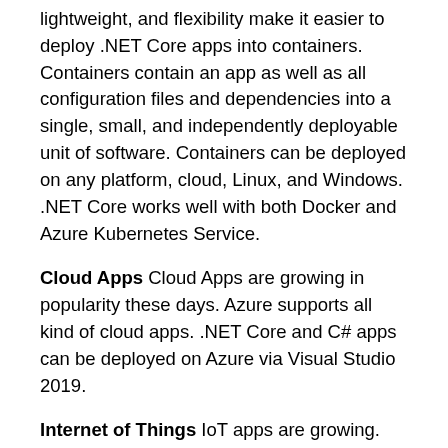lightweight, and flexibility make it easier to deploy .NET Core apps into containers. Containers contain an app as well as all configuration files and dependencies into a single, small, and independently deployable unit of software. Containers can be deployed on any platform, cloud, Linux, and Windows. .NET Core works well with both Docker and Azure Kubernetes Service.
Cloud Apps Cloud Apps are growing in popularity these days. Azure supports all kind of cloud apps. .NET Core and C# apps can be deployed on Azure via Visual Studio 2019.
Internet of Things IoT apps are growing. .NET Core supports IoT development via UWP framework for IoT devices running Windows 10 IoT Core. UWP can be used to build apps that run on IoT powered by Raspberry Pi, Minnow Board MAX, DragonBoard 410c, and others.